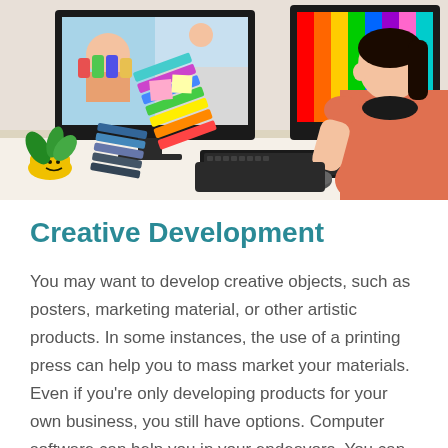[Figure (photo): A woman in a pink/coral sweater sitting at a desk with two computer monitors, working with colorful paint swatches and color palette fans spread on the desk. The monitors show colorful images including a child with painted hands.]
Creative Development
You may want to develop creative objects, such as posters, marketing material, or other artistic products. In some instances, the use of a printing press can help you to mass market your materials. Even if you're only developing products for your own business, you still have options. Computer software can help you in your endeavors. You can create your own business logos